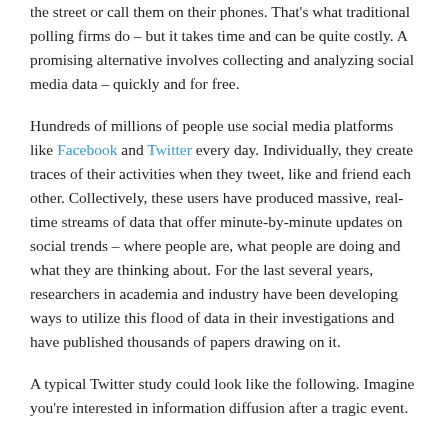the street or call them on their phones. That's what traditional polling firms do – but it takes time and can be quite costly. A promising alternative involves collecting and analyzing social media data – quickly and for free.
Hundreds of millions of people use social media platforms like Facebook and Twitter every day. Individually, they create traces of their activities when they tweet, like and friend each other. Collectively, these users have produced massive, real-time streams of data that offer minute-by-minute updates on social trends – where people are, what people are doing and what they are thinking about. For the last several years, researchers in academia and industry have been developing ways to utilize this flood of data in their investigations and have published thousands of papers drawing on it.
A typical Twitter study could look like the following. Imagine you're interested in information diffusion after a tragic event.